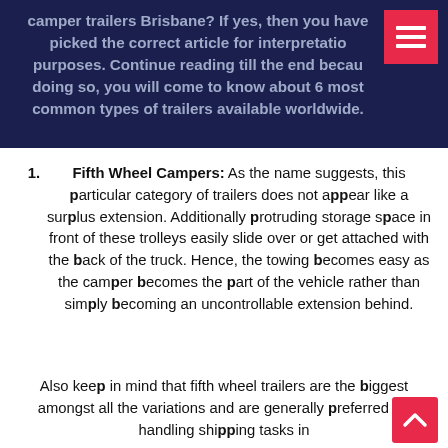camper trailers Brisbane? If yes, then you have picked the correct article for interpretation purposes. Continue reading till the end because doing so, you will come to know about 6 most common types of trailers available worldwide.
Fifth Wheel Campers: As the name suggests, this particular category of trailers does not appear like a surplus extension. Additionally protruding storage space in front of these trolleys easily slide over or get attached with the back of the truck. Hence, the towing becomes easy as the camper becomes the part of the vehicle rather than simply becoming an uncontrollable extension behind.
Also keep in mind that fifth wheel trailers are the biggest amongst all the variations and are generally preferred for handling shipping tasks in